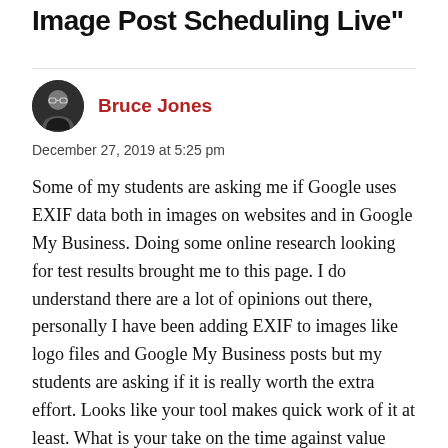Image Post Scheduling Live"
Bruce Jones
December 27, 2019 at 5:25 pm
Some of my students are asking me if Google uses EXIF data both in images on websites and in Google My Business. Doing some online research looking for test results brought me to this page. I do understand there are a lot of opinions out there, personally I have been adding EXIF to images like logo files and Google My Business posts but my students are asking if it is really worth the extra effort. Looks like your tool makes quick work of it at least. What is your take on the time against value question? Thanks